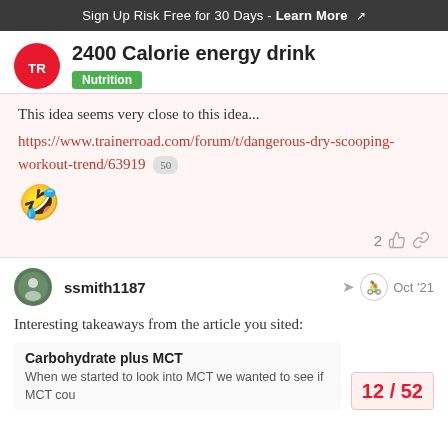Sign Up Risk Free for 30 Days - Learn More
2400 Calorie energy drink
Nutrition
This idea seems very close to this idea...
https://www.trainerroad.com/forum/t/dangerous-dry-scooping-workout-trend/63919  50
[Figure (other): Laughing/rolling on floor emoji 🤣]
2 likes, link
ssmith1187  Oct '21
Interesting takeaways from the article you sited:
Carbohydrate plus MCT
When we started to look into MCT we wanted to see if MCT cou...
12 / 52